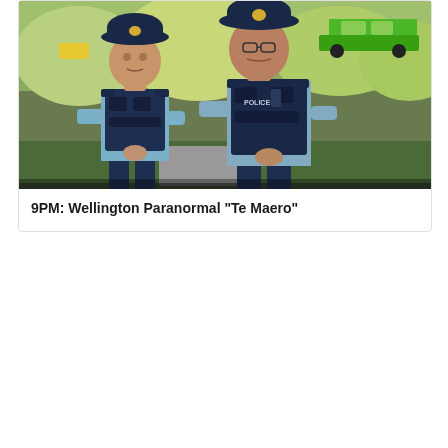[Figure (photo): Two New Zealand police officers in blue uniforms and dark tactical vests standing outdoors. A green sports car is visible in the background along with greenery and a pathway.]
9PM: Wellington Paranormal "Te Maero"